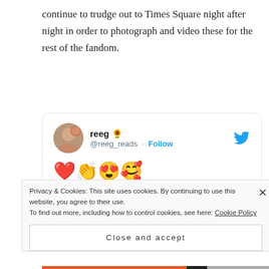continue to trudge out to Times Square night after night in order to photograph and video these for the rest of the fandom.
[Figure (screenshot): Embedded tweet from @reeg_reads showing emojis (heart, clapping hands, heart-eyes, smiling face with hearts), bold mentions @BridgetOnTV @WynnonnaEarpPod @WynonnaFans, and hashtags #FightForWynonna #WynonnaEarp]
Privacy & Cookies: This site uses cookies. By continuing to use this website, you agree to their use. To find out more, including how to control cookies, see here: Cookie Policy
Close and accept